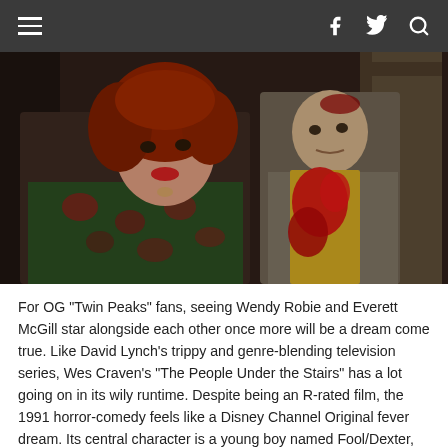≡  f  🐦  🔍
[Figure (photo): Two people in a dimly lit room: a woman with curly red hair wearing a floral blouse on the left, and a man in a khaki shirt covered in red (blood) stains on the right, both looking forward with serious expressions. Scene from a horror film.]
For OG "Twin Peaks" fans, seeing Wendy Robie and Everett McGill star alongside each other once more will be a dream come true. Like David Lynch's trippy and genre-blending television series, Wes Craven's "The People Under the Stairs" has a lot going on in its wily runtime. Despite being an R-rated film, the 1991 horror-comedy feels like a Disney Channel Original fever dream. Its central character is a young boy named Fool/Dexter, who goes against the killer odds of gentrification, white privilege, evil